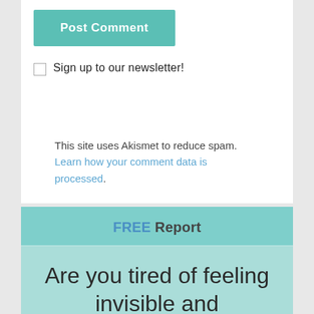[Figure (screenshot): A teal/green 'Post Comment' button]
Sign up to our newsletter!
This site uses Akismet to reduce spam. Learn how your comment data is processed.
FREE Report
Are you tired of feeling invisible and misunderstood?